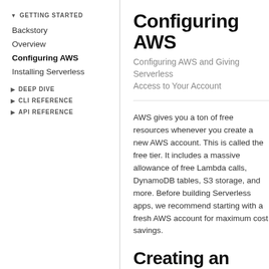GETTING STARTED
Backstory
Overview
Configuring AWS
Installing Serverless
DEEP DIVE
CLI REFERENCE
API REFERENCE
Configuring AWS
Configuring AWS and Giving Serverless Access to Your Account
AWS gives you a ton of free resources whenever you create a new AWS account. This is called the free tier. It includes a massive allowance of free Lambda calls, DynamoDB tables, S3 storage, and more. Before building Serverless apps, we recommend starting with a fresh AWS account for maximum cost savings.
Creating an Administrative IAM User